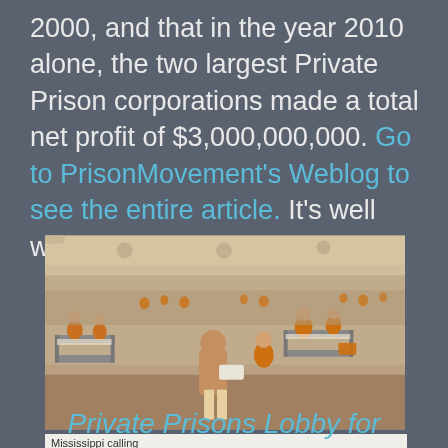2000, and that in the year 2010 alone, the two largest Private Prison corporations made a total net profit of $3,000,000,000. Go to PrisonMovement's Weblog to see the entire article. It's well worth the read.
[Figure (photo): Overcrowded prison dormitory with inmates in orange uniforms sitting and lying on bunk beds. Caption reads: Mississippi calling]
Mississippi calling
Private Prisons Lobby for